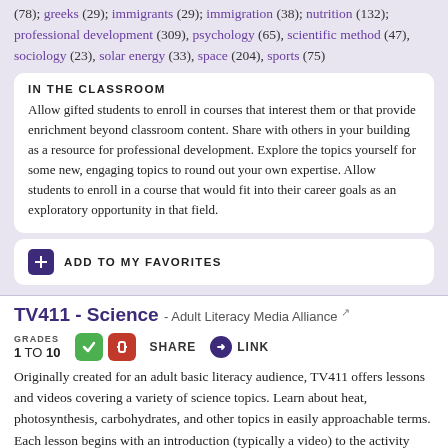(78); greeks (29); immigrants (29); immigration (38); nutrition (132); professional development (309); psychology (65); scientific method (47); sociology (23); solar energy (33); space (204); sports (75)
IN THE CLASSROOM
Allow gifted students to enroll in courses that interest them or that provide enrichment beyond classroom content. Share with others in your building as a resource for professional development. Explore the topics yourself for some new, engaging topics to round out your own expertise. Allow students to enroll in a course that would fit into their career goals as an exploratory opportunity in that field.
ADD TO MY FAVORITES
TV411 - Science - Adult Literacy Media Alliance
GRADES 1 TO 10
SHARE
LINK
Originally created for an adult basic literacy audience, TV411 offers lessons and videos covering a variety of science topics. Learn about heat, photosynthesis, carbohydrates, and other topics in easily approachable terms. Each lesson begins with an introduction (typically a video) to the activity including questions to answer. Feedback is given to the questions including an